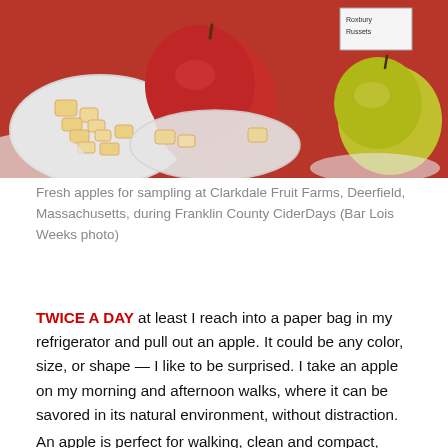[Figure (photo): Photo of fresh apples for sampling at Clarkdale Fruit Farms — whole red apple and sliced apple pieces on white plates on a red surface, with a yellow-green apple and label card visible on the right side reading 'Roxbury Russets'.]
Fresh apples for sampling at Clarkdale Fruit Farms, Deerfield, Massachusetts, during Franklin County CiderDays (Bar Lois Weeks photo)
TWICE A DAY at least I reach into a paper bag in my refrigerator and pull out an apple. It could be any color, size, or shape — I like to be surprised. I take an apple on my morning and afternoon walks, where it can be savored in its natural environment, without distraction.
An apple is perfect for walking, clean and compact, fitting neatly in my pocket, giving me a sweet energy boost and fresh juice along the way. Apples work on all the senses, beautiful to behold (especially in contrast with November's